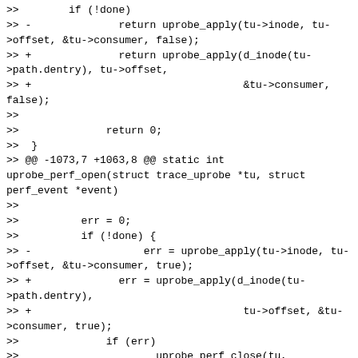>>        if (!done)
>> -              return uprobe_apply(tu->inode, tu->offset, &tu->consumer, false);
>> +              return uprobe_apply(d_inode(tu->path.dentry), tu->offset,
>> +                                  &tu->consumer, false);
>>
>>              return 0;
>>  }
>> @@ -1073,7 +1063,8 @@ static int uprobe_perf_open(struct trace_uprobe *tu, struct perf_event *event)
>>
>>          err = 0;
>>          if (!done) {
>> -                  err = uprobe_apply(tu->inode, tu->offset, &tu->consumer, true);
>> +              err = uprobe_apply(d_inode(tu->path.dentry),
>> +                                  tu->offset, &tu->consumer, true);
>>              if (err)
>>                      uprobe_perf_close(tu, event);
>>          }
>> @@ -1337,7 +1328,6 @@ struct trace_event_call *
>>  create_local_trace_uprobe(char *name, unsigned long offs, bool is_return)
>>  {
>>